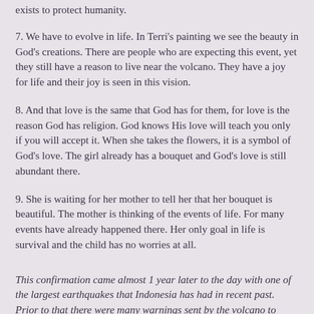exists to protect humanity.
7. We have to evolve in life. In Terri's painting we see the beauty in God's creations. There are people who are expecting this event, yet they still have a reason to live near the volcano. They have a joy for life and their joy is seen in this vision.
8. And that love is the same that God has for them, for love is the reason God has religion. God knows His love will teach you only if you will accept it. When she takes the flowers, it is a symbol of God's love. The girl already has a bouquet and God's love is still abundant there.
9. She is waiting for her mother to tell her that her bouquet is beautiful. The mother is thinking of the events of life. For many events have already happened there. Her only goal in life is survival and the child has no worries at all.
This confirmation came almost 1 year later to the day with one of the largest earthquakes that Indonesia has had in recent past. Prior to that there were many warnings sent by the volcano to warn the people of the